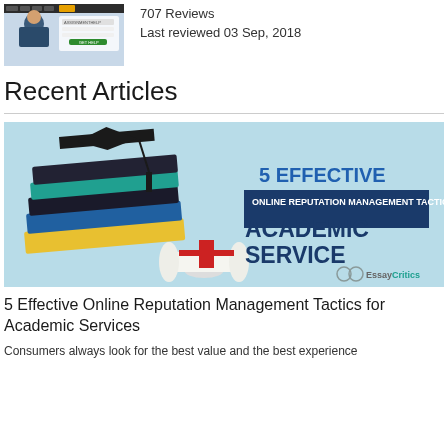[Figure (screenshot): Screenshot of an academic help website showing a smiling student]
707 Reviews
Last reviewed 03 Sep, 2018
Recent Articles
[Figure (illustration): Promotional banner image with graduation cap, stacked books and diploma. Text reads: 5 EFFECTIVE ONLINE REPUTATION MANAGEMENT TACTICS FOR ACADEMIC SERVICE. EssayCritics logo.]
5 Effective Online Reputation Management Tactics for Academic Services
Consumers always look for the best value and the best experience